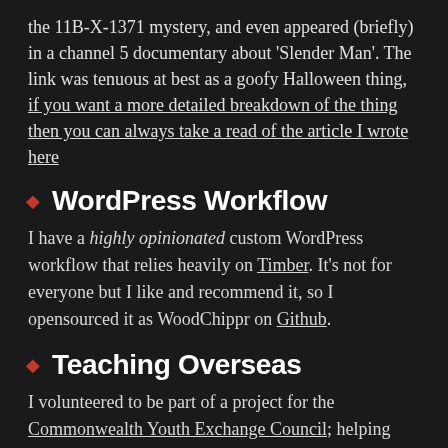the 11B-X-1371 mystery, and even appeared (briefly) in a channel 5 documentary about 'Slender Man'. The link was tenuous at best as a goofy Halloween thing, if you want a more detailed breakdown of the thing then you can always take a read of the article I wrote here
WordPress Workflow
I have a highly opinionated custom WordPress workflow that relies heavily on Timber. It's not for everyone but I like and recommend it, so I opensourced it as WoodChippr on Github.
Teaching Overseas
I volunteered to be part of a project for the Commonwealth Youth Exchange Council; helping write and teach a short course in web development and animation.